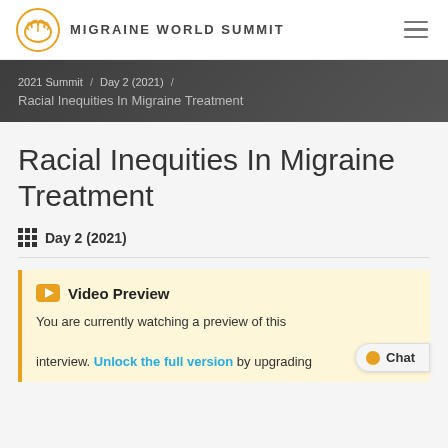MIGRAINE WORLD SUMMIT
2021 Summit / Day 2 (2021) / Racial Inequities In Migraine Treatment
Racial Inequities In Migraine Treatment
Day 2 (2021)
Video Preview
You are currently watching a preview of this interview. Unlock the full version by upgrading to Access Pass. I Get FREE access to 8...